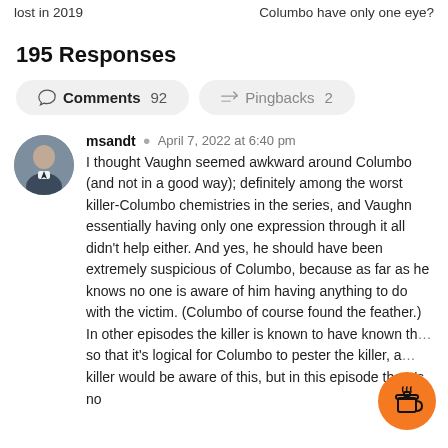lost in 2019 | Columbo have only one eye?
195 Responses
Comments 92   Pingbacks 2
msandt  April 7, 2022 at 6:40 pm
I thought Vaughn seemed awkward around Columbo (and not in a good way); definitely among the worst killer-Columbo chemistries in the series, and Vaughn essentially having only one expression through it all didn't help either. And yes, he should have been extremely suspicious of Columbo, because as far as he knows no one is aware of him having anything to do with the victim. (Columbo of course found the feather.) In other episodes the killer is known to have known th… so that it's logical for Columbo to pester the killer, a… killer would be aware of this, but in this episode there's no